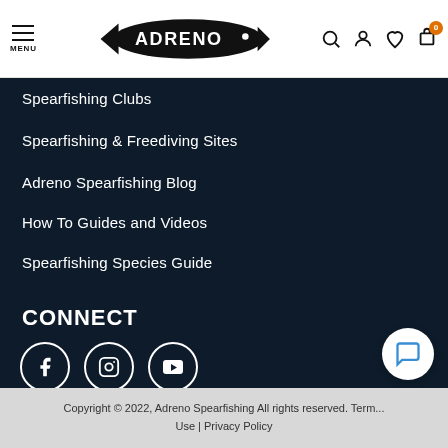MENU | ADRENO [logo] | search, account, wishlist, cart (0)
Spearfishing Clubs
Spearfishing & Freediving Sites
Adreno Spearfishing Blog
How To Guides and Videos
Spearfishing Species Guide
CONNECT
[Figure (illustration): Three social media icons in white circles: Facebook, Instagram, YouTube]
Copyright © 2022, Adreno Spearfishing All rights reserved. Terms of Use | Privacy Policy